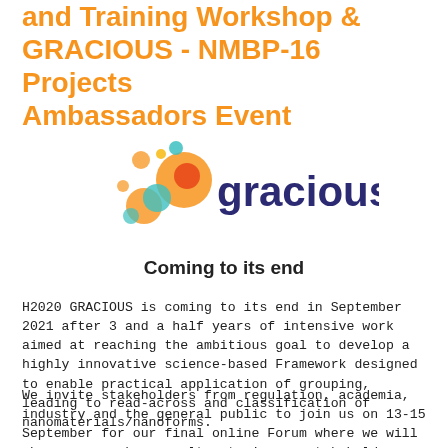and Training Workshop & GRACIOUS - NMBP-16 Projects Ambassadors Event
[Figure (logo): GRACIOUS project logo with colorful bubble circles and text 'gracious' in dark blue, with tagline 'Coming to its end' in bold black]
H2020 GRACIOUS is coming to its end in September 2021 after 3 and a half years of intensive work aimed at reaching the ambitious goal to develop a highly innovative science-based Framework designed to enable practical application of grouping, leading to read-across and classification of nanomaterials/nanoforms.
We invite stakeholders from regulation, academia, industry and the general public to join us on 13-15 September for our final online Forum where we will showcase our key results, train our stakeholders (especially SMEs) on the GRACIOUS tools and approaches and discuss how our